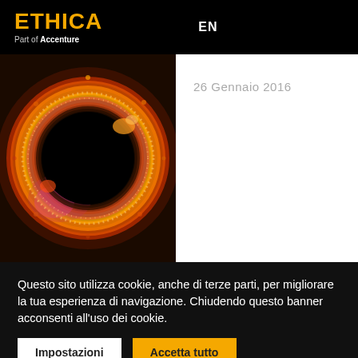ETHICA Part of Accenture | EN
[Figure (photo): Abstract circular swirl of orange, red and gold light forming a ring shape against a black background, resembling a black hole or energy vortex.]
26 Gennaio 2016
Questo sito utilizza cookie, anche di terze parti, per migliorare la tua esperienza di navigazione. Chiudendo questo banner acconsenti all'uso dei cookie.
Impostazioni
Accetta tutto